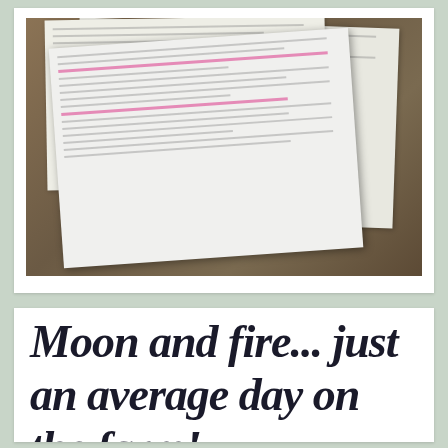[Figure (photo): Photograph of printed documents (papers with text and pink highlighting) laid out on a wooden table, viewed at an angle]
Moon and fire... just an average day on the farm!